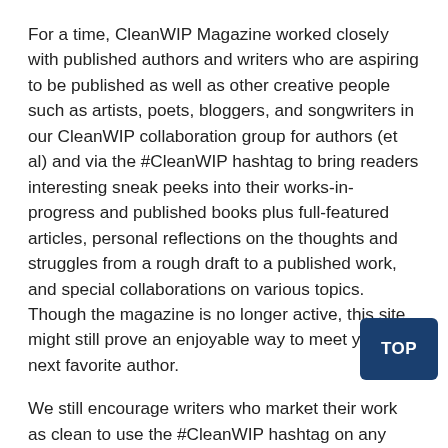For a time, CleanWIP Magazine worked closely with published authors and writers who are aspiring to be published as well as other creative people such as artists, poets, bloggers, and songwriters in our CleanWIP collaboration group for authors (et al) and via the #CleanWIP hashtag to bring readers interesting sneak peeks into their works-in-progress and published books plus full-featured articles, personal reflections on the thoughts and struggles from a rough draft to a published work, and special collaborations on various topics. Though the magazine is no longer active, this site might still prove an enjoyable way to meet your next favorite author.
We still encourage writers who market their work as clean to use the #CleanWIP hashtag on any social platform to share sneak peeks from yet-to-be-published works. We also encourage use of the hashtag for a single relevant release day announcement. On Fridays, we relax the structure ever and encourage using #CleanWIP to share relevant ne interesting teases from a work-in-progress or published work (purchase links encouraged on Fridays), or something else our